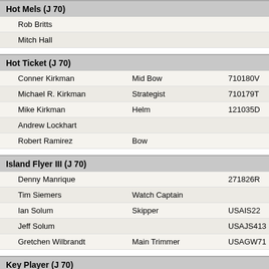Hot Mels (J 70)
Rob Britts
Mitch Hall
Hot Ticket (J 70)
Conner Kirkman | Mid Bow | 710180V
Michael R. Kirkman | Strategist | 710179T
Mike Kirkman | Helm | 121035D
Andrew Lockhart
Robert Ramirez | Bow
Island Flyer III (J 70)
Denny Manrique | | 271826R
Tim Siemers | Watch Captain
Ian Solum | Skipper | USAIS22
Jeff Solum | | USAJS413
Gretchen Wilbrandt | Main Trimmer | USAGW71
Key Player (J 70)
chris keller | Cat 3 Cooler Jockey | 398684R